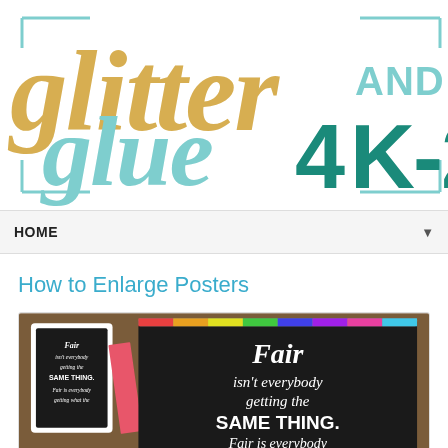[Figure (logo): Glitter AND Glue 4 K-2 blog logo. Gold glitter script 'glitter', teal/mint script 'glue', teal 'AND', dark teal bold '4 K-2', all inside a rectangular bracket/frame outline in teal.]
HOME ▼
How to Enlarge Posters
[Figure (photo): Two photos of a black chalkboard-style poster. The poster reads: 'Fair isn't everybody getting the SAME THING. Fair is everybody getting what they...' One small version and one large enlarged version of the same poster are shown side by side on a wooden surface with a pink/red piece of paper between them.]